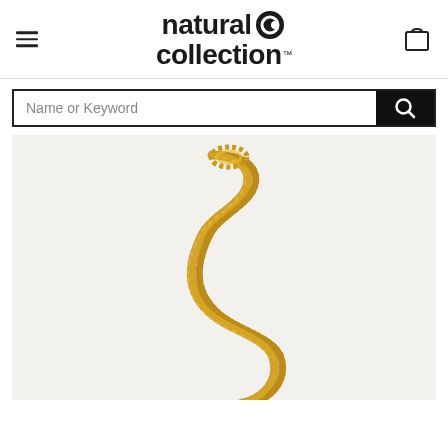natural collection
[Figure (screenshot): Search bar with 'Name or Keyword' placeholder text and a black search button with magnifying glass icon]
[Figure (photo): Close-up photo of a gold curb chain necklace arranged in an S-curve shape on a white background]